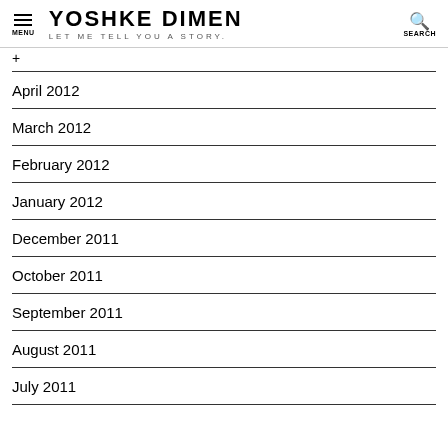YOSHKE DIMEN — LET ME TELL YOU A STORY. MENU | SEARCH
April 2012
March 2012
February 2012
January 2012
December 2011
October 2011
September 2011
August 2011
July 2011